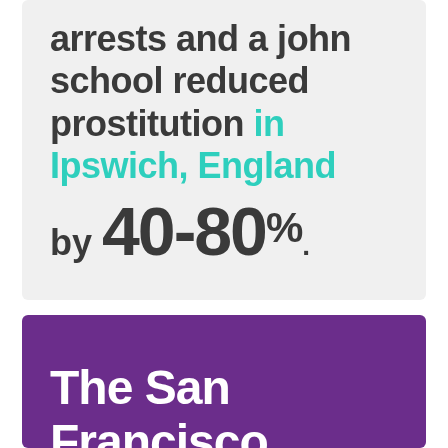arrests and a john school reduced prostitution in Ipswich, England by 40-80%.
The San Francisco john school